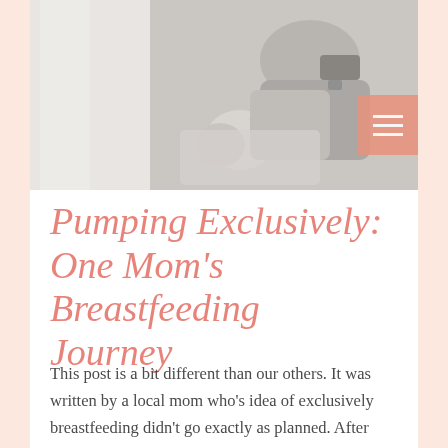[Figure (photo): Black and white photo of a woman sitting and using a breast pump while looking at her phone]
Pumping Exclusively: One Mom's Breastfeeding Journey
This post is a bit different than our others. It was written by a local mom who's idea of exclusively breastfeeding didn't go exactly as planned. After hearing about her...